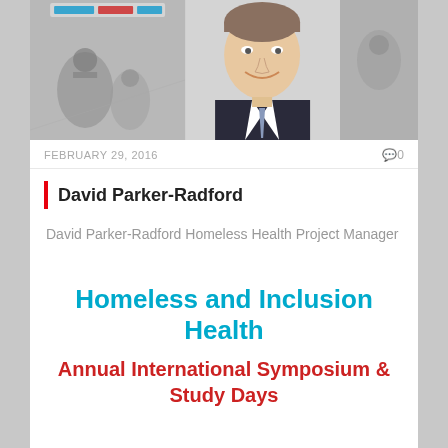[Figure (photo): Three-panel image: left panel shows chess pieces in black and white with a logo overlay, center panel shows a professional headshot of a man in a suit and tie smiling, right panel shows partial view of another image.]
FEBRUARY 29, 2016
0
David Parker-Radford
David Parker-Radford Homeless Health Project Manager Queen's Nursing Institute David joined The Queen's Nursing Institute...
Homeless and Inclusion Health
Annual International Symposium & Study Days